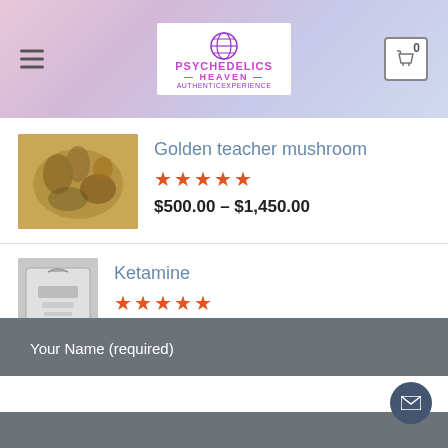Psychedelics Heaven – navigation header with logo and cart
Golden teacher mushroom – ★★★★★ – $500.00 – $1,450.00
Ketamine – ★★★★★ – $335.00 – $1,250.00
mescaline (peyote cactus) – ★★★★★ – $260.00  $225.00
Your Name (required)